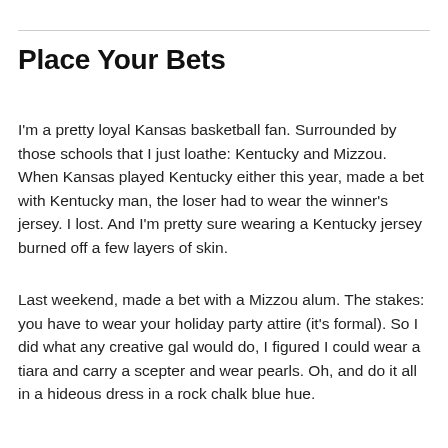Place Your Bets
I'm a pretty loyal Kansas basketball fan. Surrounded by those schools that I just loathe: Kentucky and Mizzou. When Kansas played Kentucky either this year, made a bet with Kentucky man, the loser had to wear the winner's jersey. I lost. And I'm pretty sure wearing a Kentucky jersey burned off a few layers of skin.
Last weekend, made a bet with a Mizzou alum. The stakes: you have to wear your holiday party attire (it's formal). So I did what any creative gal would do, I figured I could wear a tiara and carry a scepter and wear pearls. Oh, and do it all in a hideous dress in a rock chalk blue hue.